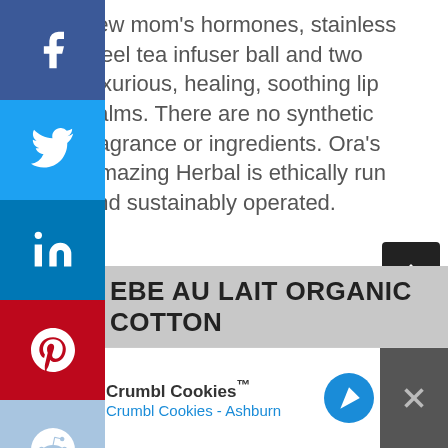new mom's hormones, stainless steel tea infuser ball and two luxurious, healing, soothing lip balms. There are no synthetic fragrance or ingredients. Ora's Amazing Herbal is ethically run and sustainably operated.
More Info
EBE AU LAIT ORGANIC COTTON
[Figure (screenshot): Crumbl Cookies advertisement banner with logo, name 'Crumbl Cookies™', subtitle 'Crumbl Cookies - Ashburn', navigation arrow button, close button, and social share sidebar with Facebook, Twitter, LinkedIn, Pinterest, Reddit, Mix, and Email buttons.]